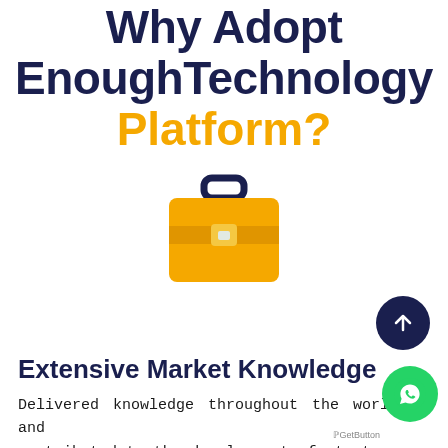Why Adopt EnoughTechnology Platform?
[Figure (illustration): A yellow briefcase icon with a dark navy handle and a light-colored clasp detail in the center]
Extensive Market Knowledge
Delivered knowledge throughout the world and contributed to the development of startups and businesses.